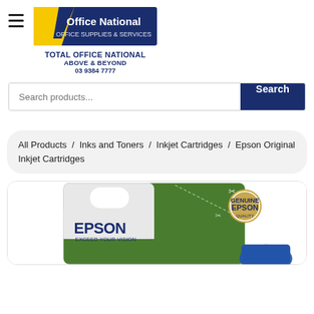[Figure (logo): Office National logo: blue rectangle with white text 'Office National' and yellow triangle/chevron on left side]
TOTAL OFFICE NATIONAL
ABOVE & BEYOND
03 9384 7777
Search products...
Search
All Products / Inks and Toners / Inkjet Cartridges / Epson Original Inkjet Cartridges
[Figure (photo): Epson inkjet cartridge product packaging on green background. Shows white and green blister pack with 'EPSON EXCEED YOUR VISION' branding and EPSON circular logo badge. A blue ink cartridge is partially visible at bottom right.]